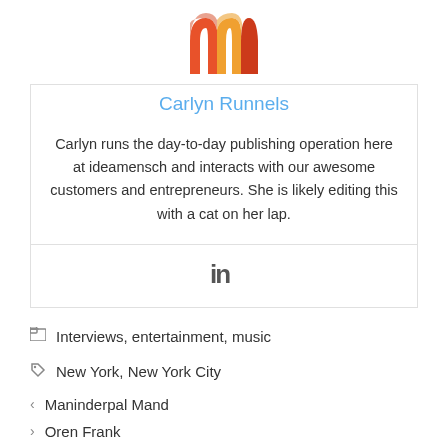[Figure (logo): Ideamensch logo — stylized letter m with orange and red color segments]
Carlyn Runnels
Carlyn runs the day-to-day publishing operation here at ideamensch and interacts with our awesome customers and entrepreneurs. She is likely editing this with a cat on her lap.
[Figure (logo): LinkedIn icon — 'in' text logo in dark gray]
Interviews, entertainment, music
New York, New York City
Maninderpal Mand
Oren Frank